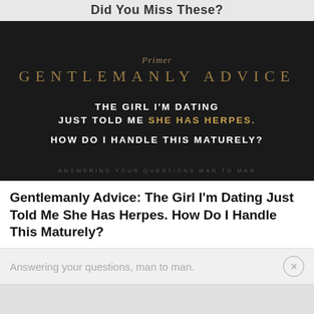Did You Miss These?
[Figure (illustration): Dark background promotional image for 'Primer Gentlemanly Advice' article titled 'The Girl I'm Dating Just Told Me She Has Herpes. How Do I Handle This Maturely?' with subtitle 'Answering your questions man to man']
Gentlemanly Advice: The Girl I'm Dating Just Told Me She Has Herpes. How Do I Handle This Maturely?
Answering your questions, man to man.